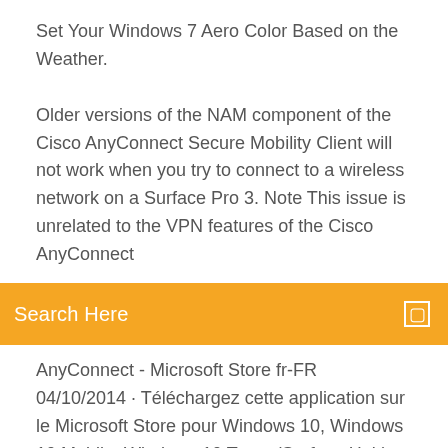Set Your Windows 7 Aero Color Based on the Weather.
Older versions of the NAM component of the Cisco AnyConnect Secure Mobility Client will not work when you try to connect to a wireless network on a Surface Pro 3. Note This issue is unrelated to the VPN features of the Cisco AnyConnect
Search Here
AnyConnect - Microsoft Store fr-FR 04/10/2014 · Téléchargez cette application sur le Microsoft Store pour Windows 10, Windows 10 Mobile, Windows 10 Team (Surface Hub), HoloLens, Xbox One. Découvrez des captures d'écran, lisez les derniers avis des clients et comparez les évaluations pour AnyConnect. AnyConnect beziehen – Microsoft Store de-DE 04/10/2014 · Laden Sie diese App für Windows 10, Windows 10 Mobile, Windows 10 Team (Surface Hub), HoloLens, Xbox One aus dem Microsoft Store herunter. Schauen Sie sich Screenshots an, lesen Sie aktuelle Kundenrezensionen, und